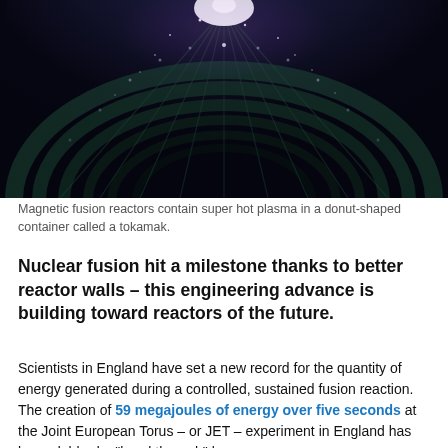[Figure (photo): A dark, futuristic image of the interior of a magnetic fusion reactor (tokamak), showing concentric glowing structures with bright purple/white light emanating from the center top, with green-tinted metallic panels.]
Magnetic fusion reactors contain super hot plasma in a donut-shaped container called a tokamak.
Nuclear fusion hit a milestone thanks to better reactor walls – this engineering advance is building toward reactors of the future.
Scientists in England have set a new record for the quantity of energy generated during a controlled, sustained fusion reaction. The creation of 59 megajoules of energy over five seconds at the Joint European Torus – or JET – experiment in England has been dubbed a "breakthrough" by